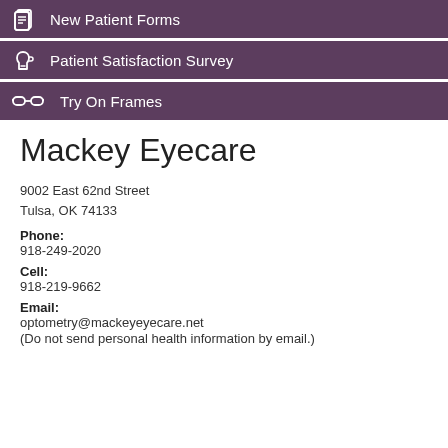New Patient Forms
Patient Satisfaction Survey
Try On Frames
Mackey Eyecare
9002 East 62nd Street
Tulsa, OK 74133
Phone:
918-249-2020
Cell:
918-219-9662
Email:
optometry@mackeyeyecare.net
(Do not send personal health information by email.)